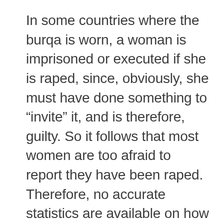In some countries where the burqa is worn, a woman is imprisoned or executed if she is raped, since, obviously, she must have done something to "invite" it, and is therefore, guilty. So it follows that most women are too afraid to report they have been raped. Therefore, no accurate statistics are available on how often rape occurs. I suspect if more rape kits were done on women who commit suicide in these countries, a more accurate picture would emerge.
People need to understand that rape is *not* about sex, lust or sexual desire. It is about power and control. It is about completely dominating and possessing the victim.